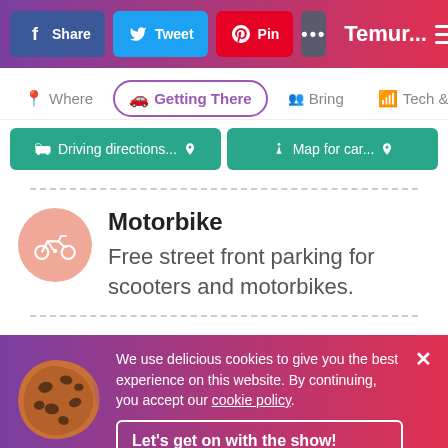[Figure (screenshot): Social sharing toolbar with Facebook Share, Twitter Tweet, Pinterest Pin, more (...) buttons, site name Temur..., and hamburger menu on gradient purple-to-red background]
[Figure (screenshot): Navigation tabs: Where, Getting There (active/selected), Bring, Tech & R...]
[Figure (screenshot): Two teal action buttons: Driving directions... with location pin icon, and Map for car... with walking person icon and location pin]
Motorbike
Free street front parking for scooters and motorbikes.
We use delicious cookies to give you the best experience on this website. By continuing, you accept our cookie policy.
Let's get on with the show! #nomnomnom